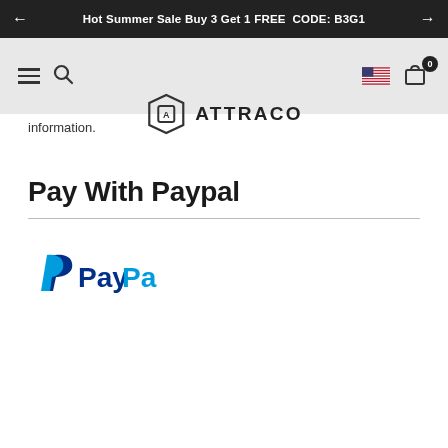← Hot Summer Sale Buy 3 Get 1 FREE  CODE: B3G1 →
[Figure (logo): Attraco brand logo with hexagon shield icon and text ATTRACO, navigation bar with hamburger menu, search icon, US flag, and cart icon with badge 0]
information.
Pay With Paypal
[Figure (logo): PayPal logo — blue P icon followed by PayPal text in dark blue and light blue]